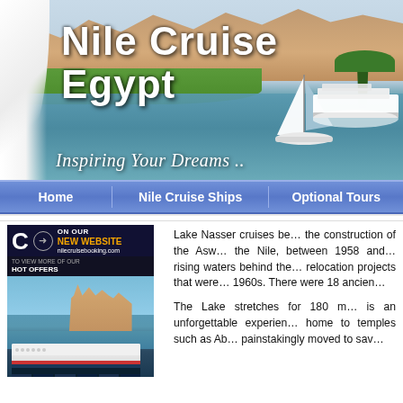[Figure (photo): Nile Cruise Egypt website header banner showing the Nile River with sailboats and a catamaran, green banks, mountains in background, with title text 'Nile Cruise Egypt' and subtitle 'Inspiring Your Dreams ..']
Nile Cruise Egypt
Inspiring Your Dreams ..
Home | Nile Cruise Ships | Optional Tours
[Figure (photo): Advertisement box showing a cruise ship at Egyptian ruins with text 'C TO VIEW MORE OF OUR HOT OFFERS ON OUR NEW WEBSITE nilecruisebooking.com']
Lake Nasser cruises be... the construction of the Asw... the Nile, between 1958 and... rising waters behind the... relocation projects that were... 1960s. There were 18 ancien...

The Lake stretches for 180 m... is an unforgettable experien... home to temples such as Ab... painstakingly moved to sav...